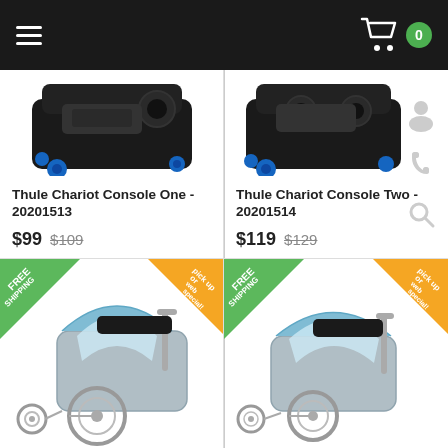Navigation bar with hamburger menu and cart icon (0 items)
[Figure (photo): Thule Chariot Console One product image - black accessory tray]
Thule Chariot Console One - 20201513
$99  $109
[Figure (photo): Thule Chariot Console Two product image - black accessory tray]
Thule Chariot Console Two - 20201514
$119  $129
[Figure (photo): Thule Chariot child trailer - light blue, single seat, with FREE SHIPPING and web special badges]
[Figure (photo): Thule Chariot child trailer - light blue, single seat smaller, with FREE SHIPPING and web special badges]